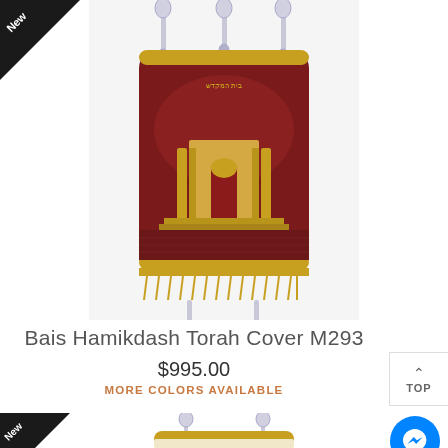[Figure (photo): Torah scroll cover with dark red/maroon fabric featuring embroidered Bais Hamikdash (Temple) design with gold fringe, Hebrew text, and decorative finials]
Bais Hamikdash Torah Cover M293
$995.00
MORE COLORS AVAILABLE
[Figure (photo): Partial view of another Torah scroll cover with cream/ivory fabric and gold trim and silver finials at top]